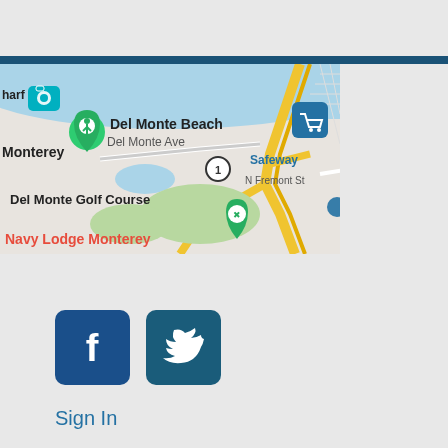[Figure (map): Google Maps view showing Monterey area including Del Monte Beach, Del Monte Ave, Del Monte Golf Course, N Fremont St, Safeway, Navy Lodge Monterey, and route markers. Yellow highway roads, blue water areas, green park markers.]
[Figure (logo): Facebook and Twitter social media icon buttons, dark blue rounded square icons]
Sign In